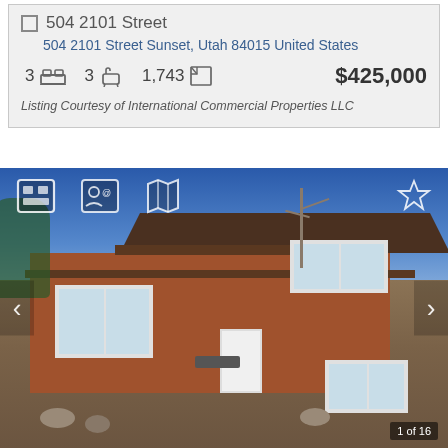504 2101 Street
504 2101 Street Sunset, Utah 84015 United States
3  [bed icon]  3  [bath icon]  1,743  [sqft icon]  $425,000
Listing Courtesy of International Commercial Properties LLC
[Figure (photo): Exterior photo of a single-story brick house with brown trim roof, large front windows, white front door, and a blue sky background. Navigation arrows on left and right sides. Toolbar at top with gallery, contact, map icons and a star/favorite icon. Image counter '1 of 16' in bottom right corner.]